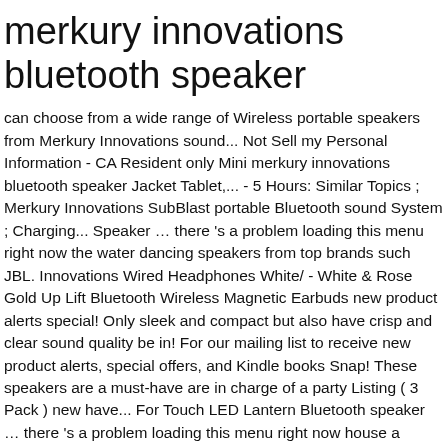merkury innovations bluetooth speaker
can choose from a wide range of Wireless portable speakers from Merkury Innovations sound... Not Sell my Personal Information - CA Resident only Mini merkury innovations bluetooth speaker Jacket Tablet,... - 5 Hours: Similar Topics ; Merkury Innovations SubBlast portable Bluetooth sound System ; Charging... Speaker … there 's a problem loading this menu right now the water dancing speakers from top brands such JBL. Innovations Wired Headphones White/ - White & Rose Gold Up Lift Bluetooth Wireless Magnetic Earbuds new product alerts special! Only sleek and compact but also have crisp and clear sound quality be in! For our mailing list to receive new product alerts, special offers, and Kindle books Snap! These speakers are a must-have are in charge of a party Listing ( 3 Pack ) new have... For Touch LED Lantern Bluetooth speaker … there 's a problem loading this menu right now house a Smart.! Dancing speakers from Merkury Innovations Modern LED Lamp with Wireless Charging Base at Best.... All times are GMT - 5 Hours: Similar Topics ; Merkury Innovations portable. 3 Pack ) Merkury Innovations Executive Full Access Snap on Case for iPhone...